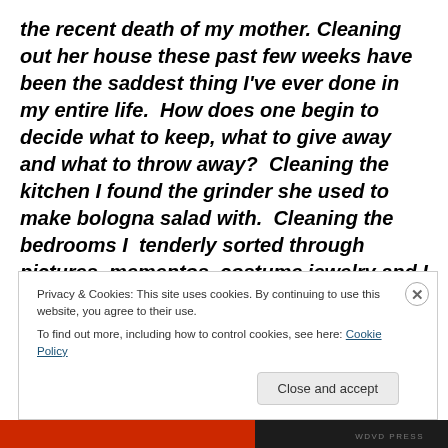the recent death of my mother. Cleaning out her house these past few weeks have been the saddest thing I've ever done in my entire life.  How does one begin to decide what to keep, what to give away and what to throw away?  Cleaning the kitchen I found the grinder she used to make bologna salad with.  Cleaning the bedrooms I  tenderly sorted through pictures, mementos, costume jewelry and I not so tenderly threw away her clothes that had become threadbare and worn.
Privacy & Cookies: This site uses cookies. By continuing to use this website, you agree to their use.
To find out more, including how to control cookies, see here: Cookie Policy
Close and accept